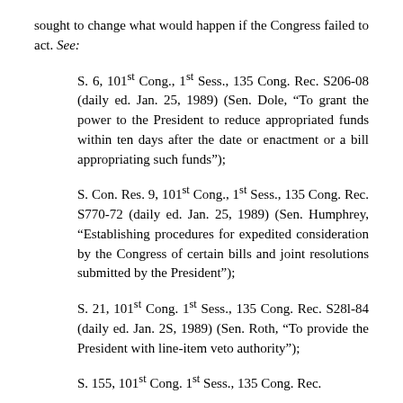sought to change what would happen if the Congress failed to act. See:
S. 6, 101st Cong., 1st Sess., 135 Cong. Rec. S206-08 (daily ed. Jan. 25, 1989) (Sen. Dole, “To grant the power to the President to reduce appropriated funds within ten days after the date or enactment or a bill appropriating such funds”);
S. Con. Res. 9, 101st Cong., 1st Sess., 135 Cong. Rec. S770-72 (daily ed. Jan. 25, 1989) (Sen. Humphrey, “Establishing procedures for expedited consideration by the Congress of certain bills and joint resolutions submitted by the President”);
S. 21, 101st Cong. 1st Sess., 135 Cong. Rec. S28l-84 (daily ed. Jan. 2S, 1989) (Sen. Roth, “To provide the President with line-item veto authority”);
S. 155, 101st Cong. 1st Sess., 135 Cong. Rec.